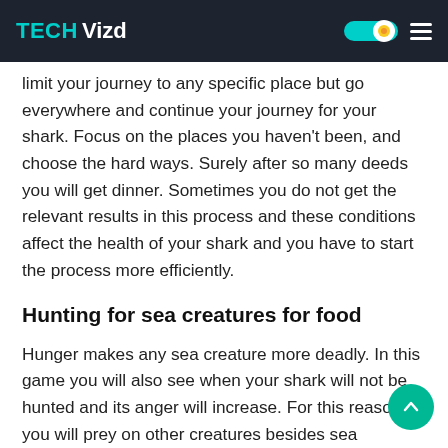TECH Vizd
limit your journey to any specific place but go everywhere and continue your journey for your shark. Focus on the places you haven't been, and choose the hard ways. Surely after so many deeds you will get dinner. Sometimes you do not get the relevant results in this process and these conditions affect the health of your shark and you have to start the process more efficiently.
Hunting for sea creatures for food
Hunger makes any sea creature more deadly. In this game you will also see when your shark will not be hunted and its anger will increase. For this reason, you will prey on other creatures besides sea creatures. Not every animal in the ocean can easily become your food. There will be dangerous creatures that can harm you, so you need to be careful. You are free to do anything for delicious food, but sometimes other creatures can